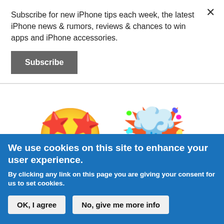Subscribe for new iPhone tips each week, the latest iPhone news & rumors, reviews & chances to win apps and iPhone accessories.
Subscribe
[Figure (illustration): Two emojis side by side: a star-struck face emoji (yellow face with star eyes and big grin) and an exploding head emoji (yellow face with a mushroom cloud explosion on top).]
We use cookies on this site to enhance your user experience.
By clicking any link on this page you are giving your consent for us to set cookies.
OK, I agree
No, give me more info